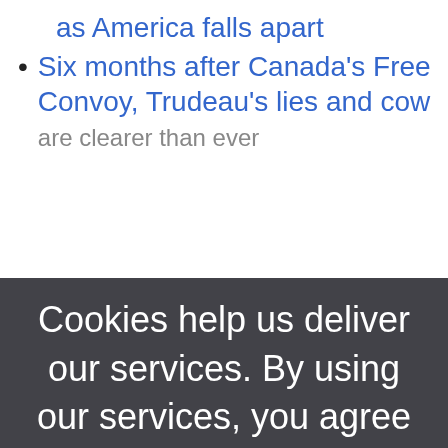as America falls apart
Six months after Canada's Freedom Convoy, Trudeau's lies and cowardice are clearer than ever
Cookies help us deliver our services. By using our services, you agree to our use of cookies. Learn more
OK